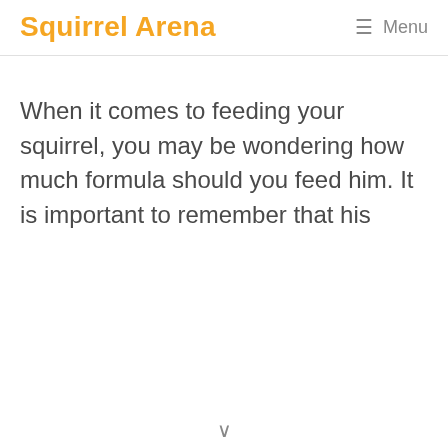Squirrel Arena
When it comes to feeding your squirrel, you may be wondering how much formula should you feed him. It is important to remember that his